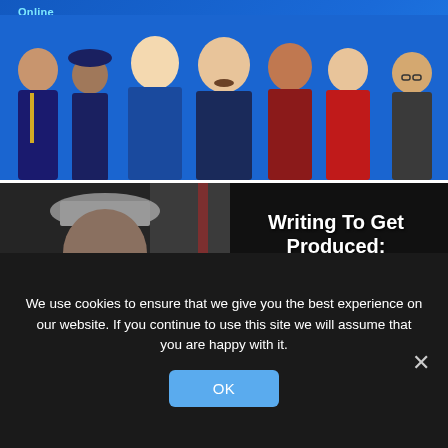[Figure (photo): Promotional image for Ted Lasso show on blue background with cast members, text 'Online' visible in top left]
[Figure (photo): Film production image showing a person holding a clapperboard, with text overlay 'Writing To Get Produced: The Art, Craft and Business of the Low Budget Film Script']
We use cookies to ensure that we give you the best experience on our website. If you continue to use this site we will assume that you are happy with it.